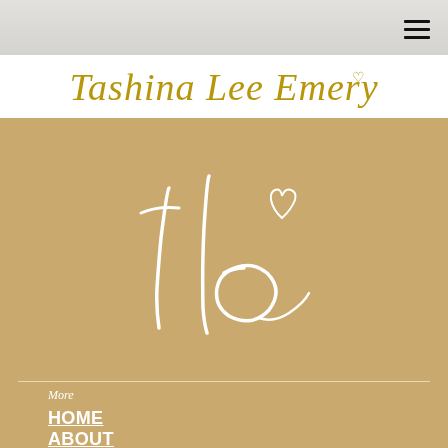Tashina Lee Emery
[Figure (logo): TLE monogram script logo in white on gold background]
More
HOME
ABOUT
PRESS
CONTACT
WHOLESALE
Newsletter Signup